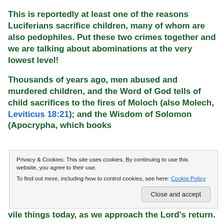This is reportedly at least one of the reasons Luciferians sacrifice children, many of whom are also pedophiles. Put these two crimes together and we are talking about abominations at the very lowest level!
Thousands of years ago, men abused and murdered children, and the Word of God tells of child sacrifices to the fires of Moloch (also Molech, Leviticus 18:21); and the Wisdom of Solomon (Apocrypha, which books
Privacy & Cookies: This site uses cookies. By continuing to use this website, you agree to their use.
To find out more, including how to control cookies, see here: Cookie Policy
vile things today, as we approach the Lord's return.